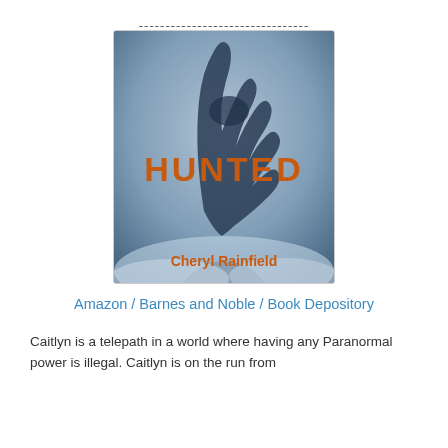--------------------------------
[Figure (illustration): Book cover of 'Hunted' by Cheryl Rainfield. The cover shows a shadowy silhouette of a hand reaching upward against a blue-grey icy/foggy background. The title 'HUNTED' is displayed in bold orange text in the center, and 'Cheryl Rainfield' appears in orange text at the bottom.]
Amazon / Barnes and Noble / Book Depository
Caitlyn is a telepath in a world where having any Paranormal power is illegal. Caitlyn is on the run from